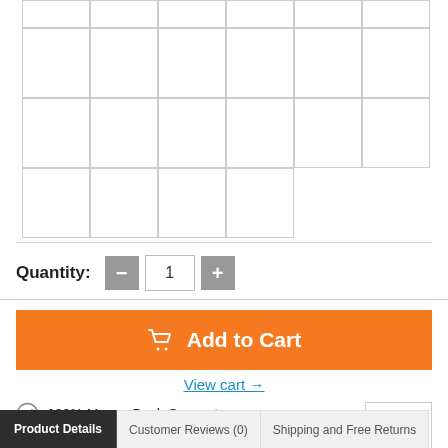[Figure (other): Grid of empty square cells arranged in rows — a color/size selector grid with 4 rows of cells (6 cells, 6 cells, 6 cells, 4 cells)]
Quantity: 1
[Figure (other): Orange Add to Cart button with shopping cart icon]
View cart →
100% Money Back Guarantee
100% Secure Payments
[Figure (other): Scroll to top button with double up-arrow chevron]
Product Details | Customer Reviews (0) | Shipping and Free Returns